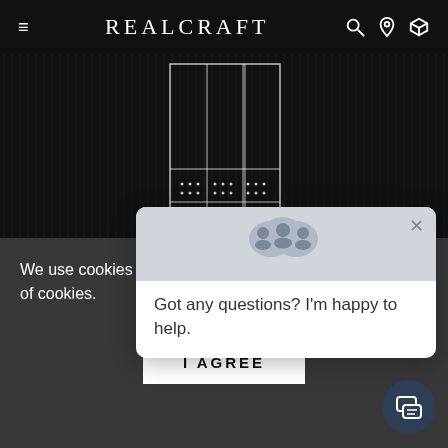REALCRAFT
[Figure (illustration): Dark background product image showing a door or wardrobe with white line grid/panel diagram overlay]
We use cookies on our we... shopping experience. By u... of cookies.
[Figure (screenshot): Chat popup with avatar icons saying 'Got any questions? I'm happy to help.' and a close X button]
I AGREE